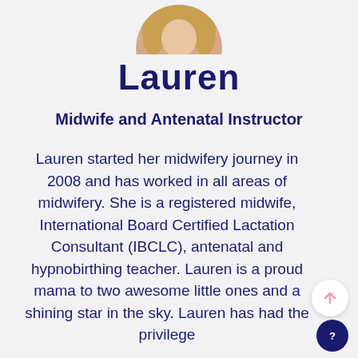[Figure (photo): Circular cropped headshot photo of Lauren, a woman with blonde hair, partially visible at top of page]
Lauren
Midwife and Antenatal Instructor
Lauren started her midwifery journey in 2008 and has worked in all areas of midwifery. She is a registered midwife, International Board Certified Lactation Consultant (IBCLC), antenatal and hypnobirthing teacher. Lauren is a proud mama to two awesome little ones and a shining star in the sky. Lauren has had the privilege